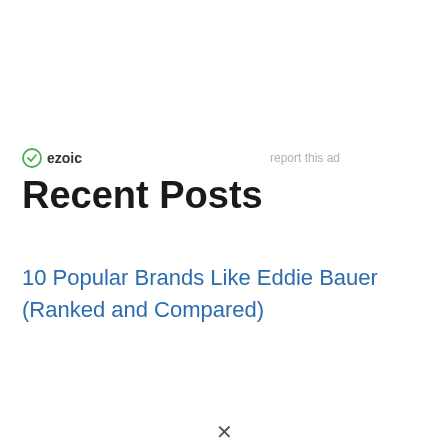[Figure (logo): Ezoic logo with green circular icon and bold 'ezoic' text]
report this ad
Recent Posts
10 Popular Brands Like Eddie Bauer (Ranked and Compared)